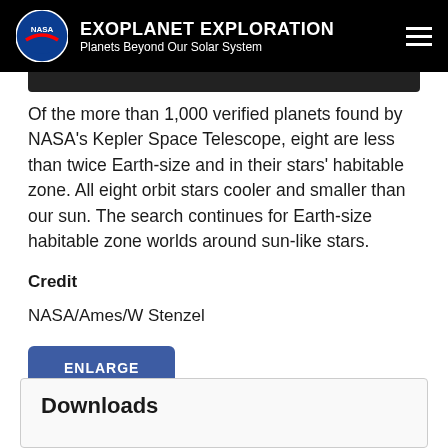EXOPLANET EXPLORATION Planets Beyond Our Solar System
Of the more than 1,000 verified planets found by NASA's Kepler Space Telescope, eight are less than twice Earth-size and in their stars' habitable zone. All eight orbit stars cooler and smaller than our sun. The search continues for Earth-size habitable zone worlds around sun-like stars.
Credit
NASA/Ames/W Stenzel
ENLARGE
Downloads